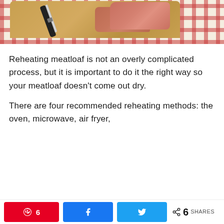[Figure (photo): Photo of sliced meatloaf on a wooden cutting board with a knife, on a red and white checkered tablecloth, viewed from above]
Reheating meatloaf is not an overly complicated process, but it is important to do it the right way so your meatloaf doesn’t come out dry.
There are four recommended reheating methods: the oven, microwave, air fryer,
6 SHARES